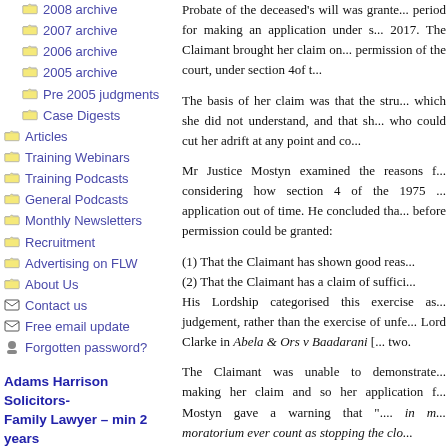2008 archive
2007 archive
2006 archive
2005 archive
Pre 2005 judgments
Case Digests
Articles
Training Webinars
Training Podcasts
General Podcasts
Monthly Newsletters
Recruitment
Advertising on FLW
About Us
Contact us
Free email update
Forgotten password?
Adams Harrison Solicitors- Family Lawyer – min 2 years PQE/Family Solicitor – min 5 years PQE
Adams Harrison Solicitors
Family Paralegal (Children Law Team)
Probate of the deceased's will was granted...period for making an application under s...2017. The Claimant brought her claim on...permission of the court, under section 4of t...
The basis of her claim was that the stru...which she did not understand, and that sh...who could cut her adrift at any point and co...
Mr Justice Mostyn examined the reasons f...considering how section 4 of the 1975...application out of time. He concluded tha...before permission could be granted:
(1) That the Claimant has shown good reas...
(2) That the Claimant has a claim of suffici...
His Lordship categorised this exercise as...judgement, rather than the exercise of unfe...Lord Clarke in Abela & Ors v Baadarani [...two.
The Claimant was unable to demonstrate...making her claim and so her application f...Mostyn gave a warning that ".... in m...moratoruim ever count as stopping the clo...